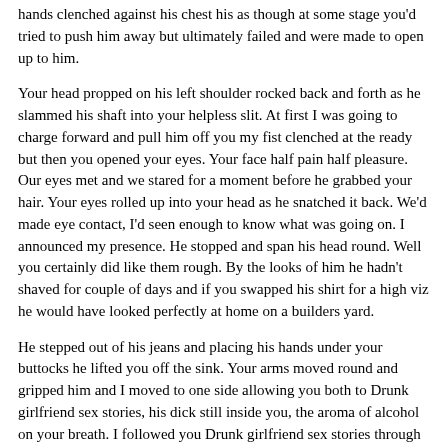hands clenched against his chest his as though at some stage you'd tried to push him away but ultimately failed and were made to open up to him.
Your head propped on his left shoulder rocked back and forth as he slammed his shaft into your helpless slit. At first I was going to charge forward and pull him off you my fist clenched at the ready but then you opened your eyes. Your face half pain half pleasure. Our eyes met and we stared for a moment before he grabbed your hair. Your eyes rolled up into your head as he snatched it back. We'd made eye contact, I'd seen enough to know what was going on. I announced my presence. He stopped and span his head round. Well you certainly did like them rough. By the looks of him he hadn't shaved for couple of days and if you swapped his shirt for a high viz he would have looked perfectly at home on a builders yard.
He stepped out of his jeans and placing his hands under your buttocks he lifted you off the sink. Your arms moved round and gripped him and I moved to one side allowing you both to Drunk girlfriend sex stories, his dick still inside you, the aroma of alcohol on your breath. I followed you Drunk girlfriend sex stories through down the hall. He carried you like a doll. Your expression not changing.